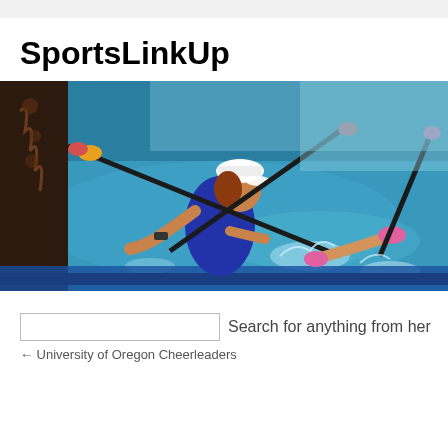SportsLinkUp
[Figure (photo): Rowing athletes in a boat on water, paddling with oars. A woman in a white cap and blue athletic wear is prominently featured pulling an oar. Navigation bar below with Home and Sporting Memorabilia Collection links on black background.]
Home   Sporting Memorabilia Collection
Search for anything from her
← University of Oregon Cheerleaders